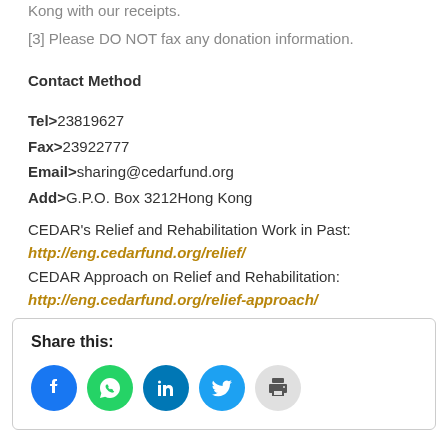Kong with our receipts.
[3] Please DO NOT fax any donation information.
Contact Method
Tel>23819627
Fax>23922777
Email>sharing@cedarfund.org
Add>G.P.O. Box 3212Hong Kong
CEDAR’s Relief and Rehabilitation Work in Past: http://eng.cedarfund.org/relief/
CEDAR Approach on Relief and Rehabilitation: http://eng.cedarfund.org/relief-approach/
[Figure (infographic): Share this: section with social media icons for Facebook, WhatsApp, LinkedIn, Twitter, and Print]